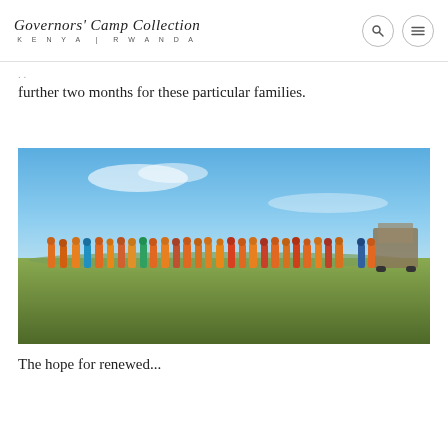Governors' Camp Collection KENYA | RWANDA
further two months for these particular families.
[Figure (photo): A line of Maasai women dressed in colorful orange, red, and multicolored robes standing in an open grassy savanna plain under a bright blue sky with light clouds. A vehicle is visible on the right side.]
The hope for a renewed...